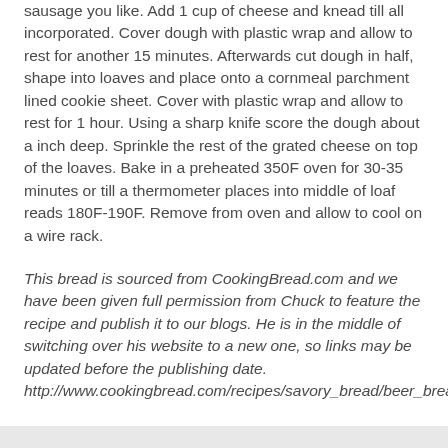sausage you like. Add 1 cup of cheese and knead till all incorporated. Cover dough with plastic wrap and allow to rest for another 15 minutes. Afterwards cut dough in half, shape into loaves and place onto a cornmeal parchment lined cookie sheet. Cover with plastic wrap and allow to rest for 1 hour. Using a sharp knife score the dough about a inch deep. Sprinkle the rest of the grated cheese on top of the loaves. Bake in a preheated 350F oven for 30-35 minutes or till a thermometer places into middle of loaf reads 180F-190F. Remove from oven and allow to cool on a wire rack.
This bread is sourced from CookingBread.com and we have been given full permission from Chuck to feature the recipe and publish it to our blogs. He is in the middle of switching over his website to a new one, so links may be updated before the publishing date. http://www.cookingbread.com/recipes/savory_bread/beer_bread_recipe.html